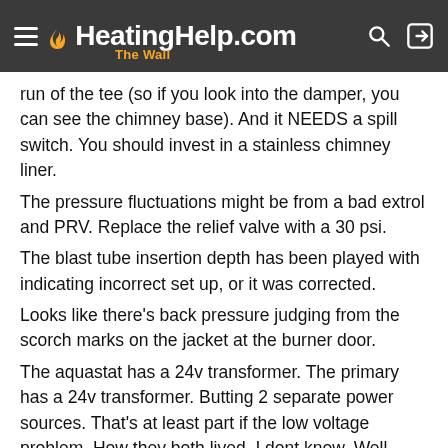HeatingHelp.com – The Wall
run of the tee (so if you look into the damper, you can see the chimney base). And it NEEDS a spill switch. You should invest in a stainless chimney liner.
The pressure fluctuations might be from a bad extrol and PRV. Replace the relief valve with a 30 psi.
The blast tube insertion depth has been played with indicating incorrect set up, or it was corrected.
Looks like there's back pressure judging from the scorch marks on the jacket at the burner door.
The aquastat has a 24v transformer. The primary has a 24v transformer. Butting 2 separate power sources. That's at least part if the low voltage problem. How they both lived, I dont know. Well maybe the aquastat is on its death bed.
Remove the thermostat wiring between the aquastat and the primary. Remove the thermostat wires at the